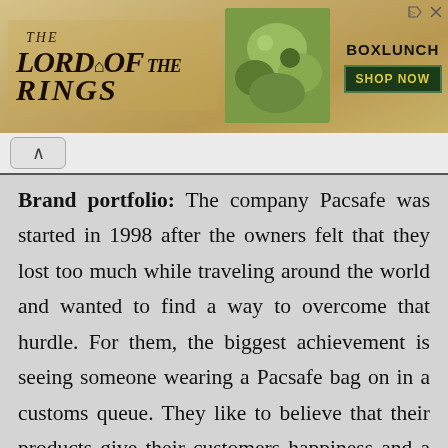[Figure (other): Advertisement banner for Lord of the Rings merchandise at BoxLunch with a 'Shop Now' button, featuring the Lord of the Rings logo on the left, a food/product image in the center, and the BoxLunch brand with a shop now button on the right.]
Brand portfolio: The company Pacsafe was started in 1998 after the owners felt that they lost too much while traveling around the world and wanted to find a way to overcome that hurdle. For them, the biggest achievement is seeing someone wearing a Pacsafe bag on in a customs queue. They like to believe that their products give their customers happiness and a bounce to their step